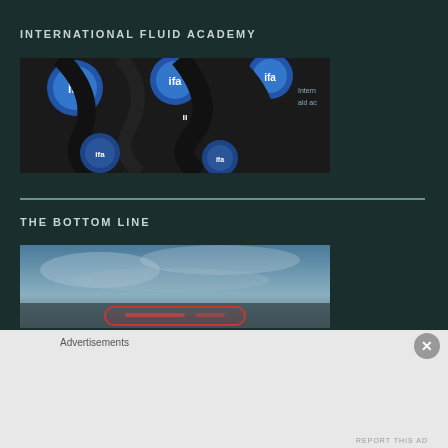INTERNATIONAL FLUID ACADEMY
[Figure (photo): Close-up photo of IFA (International Fluid Academy) branded lanyards and badge holders with blue circular logos, tangled together on a dark background]
THE BOTTOM LINE
[Figure (photo): Partial photo showing a blurred outdoor/sky scene with a red-bordered button or label element partially visible at the bottom]
Advertisements
REPORT THIS AD